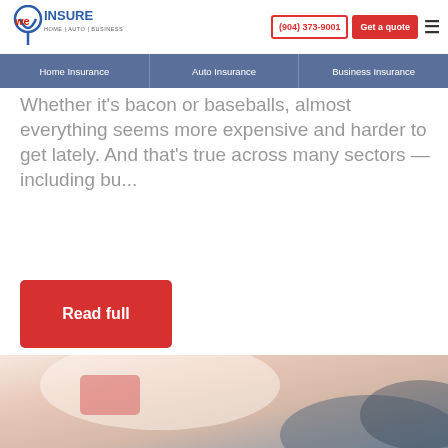[Figure (logo): We Insure logo with tagline HOME | AUTO | BUSINESS]
(904) 373-9001  Get a quote
Home Insurance | Auto Insurance | Business Insurance
Whether it's bacon or baseballs, almost everything seems more expensive and harder to get lately. And that's true across many sectors — including bu...
Read full
[Figure (photo): Person working on a car, inspecting or cleaning, partial view from above showing hands and car surface]